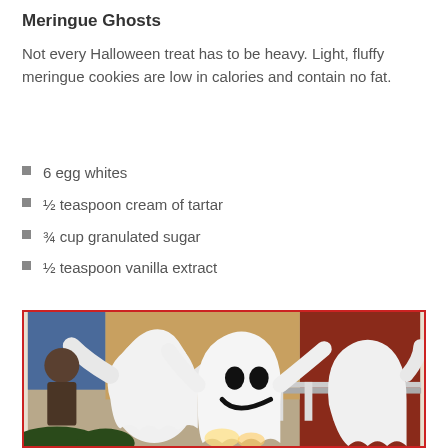Meringue Ghosts
Not every Halloween treat has to be heavy. Light, fluffy meringue cookies are low in calories and contain no fat.
6 egg whites
½ teaspoon cream of tartar
¾ cup granulated sugar
½ teaspoon vanilla extract
[Figure (photo): Photo of Halloween ghost decorations — white ghost figures with arms raised, lit from below with warm lights, standing on a porch with red and tan siding in the background. The central ghost has a smiling face with black oval eyes and mouth.]